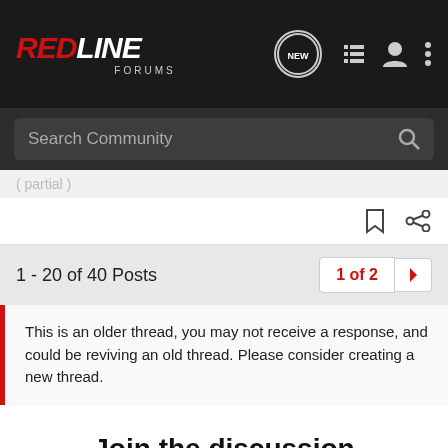RedLine Forums
Search Community
1 - 20 of 40 Posts
1 of 2
This is an older thread, you may not receive a response, and could be reviving an old thread. Please consider creating a new thread.
Join the discussion
Continue with Facebook